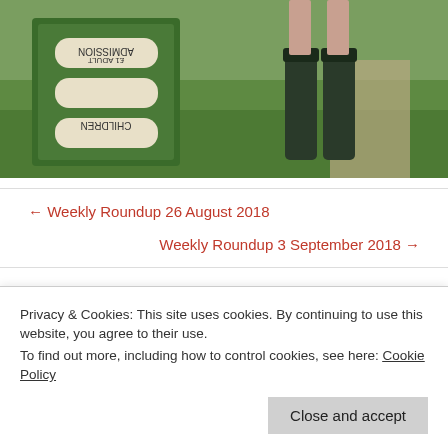[Figure (photo): Photo showing a person in rubber boots standing next to an admission sign on grass]
← Weekly Roundup 26 August 2018
Weekly Roundup 3 September 2018 →
One thought on “The Lakeland 100 (and 5) – Dave Brunton”
Privacy & Cookies: This site uses cookies. By continuing to use this website, you agree to their use.
To find out more, including how to control cookies, see here: Cookie Policy